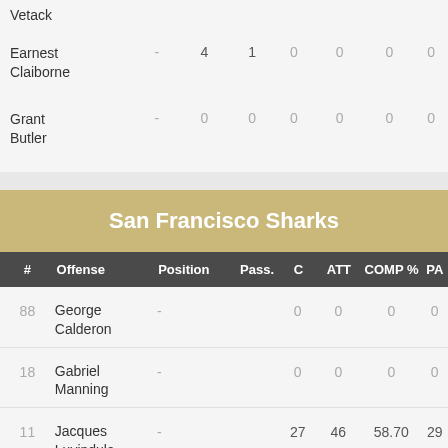| # | Offense | Position | Pass. | C | ATT | COMP % | PA |
| --- | --- | --- | --- | --- | --- | --- | --- |
|  | Vetack |  |  |  |  |  |  |
|  | Earnest Claiborne | - | 4 | 1 | 0 | 0 | 0 |
|  | Grant Butler | - | 0 | 0 | 0 | 0 | 0 |
San Francisco Sharks
| # | Offense | Position | Pass. | C | ATT | COMP % | PA |
| --- | --- | --- | --- | --- | --- | --- | --- |
| 88 | George Calderon | - |  | 0 | 0 | 0 | 0 |
| 18 | Gabriel Manning | - |  | 0 | 0 | 0 | 0 |
| 11 | Jacques Luyindula | - |  | 27 | 46 | 58.70 | 29 |